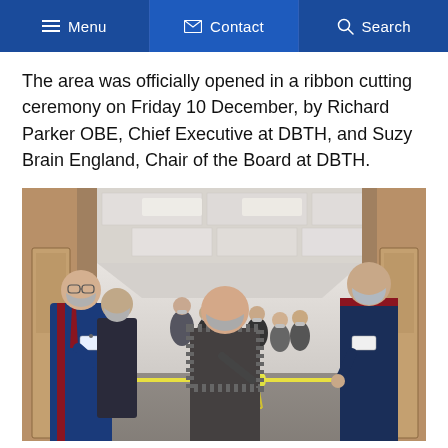≡ Menu   ✉ Contact   🔍 Search
The area was officially opened in a ribbon cutting ceremony on Friday 10 December, by Richard Parker OBE, Chief Executive at DBTH, and Suzy Brain England, Chair of the Board at DBTH.
[Figure (photo): Group of people wearing face masks standing in a hospital corridor during a ribbon cutting ceremony. A man in a blue suit on the left and a man in navy scrubs on the right hold a yellow ribbon with a bow, while a woman in a patterned top cuts it. Multiple staff members stand in the background along the corridor.]